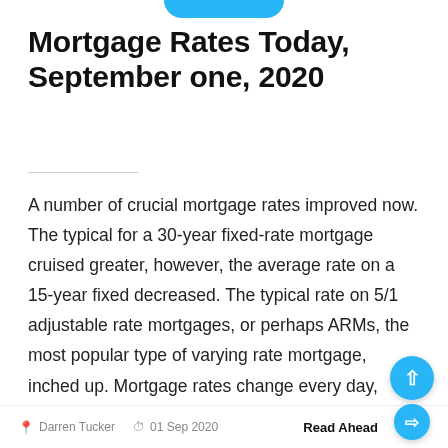Mortgage Rates Today, September one, 2020
A number of crucial mortgage rates improved now. The typical for a 30-year fixed-rate mortgage cruised greater, however, the average rate on a 15-year fixed decreased. The typical rate on 5/1 adjustable rate mortgages, or perhaps ARMs, the most popular type of varying rate mortgage, inched up. Mortgage rates change every day, however, they remain...
Darren Tucker   01 Sep 2020   Read Ahead